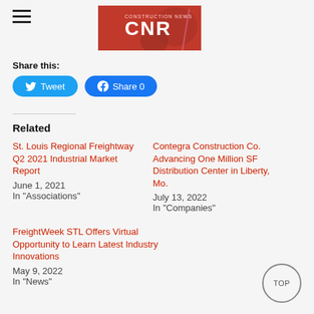[Figure (logo): CNR logo banner — red background with CNR text and abstract imagery]
Share this:
Tweet  Share 0
Related
St. Louis Regional Freightway Q2 2021 Industrial Market Report
June 1, 2021
In "Associations"
Contegra Construction Co. Advancing One Million SF Distribution Center in Liberty, Mo.
July 13, 2022
In "Companies"
FreightWeek STL Offers Virtual Opportunity to Learn Latest Industry Innovations
May 9, 2022
In "News"